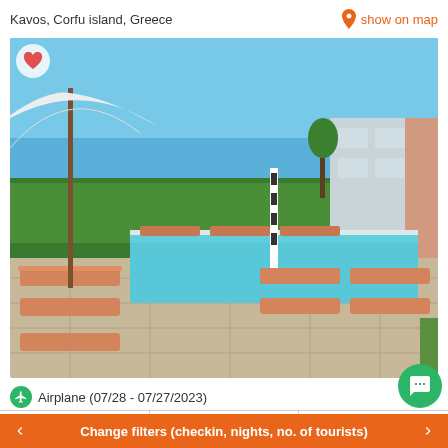Kavos, Corfu island, Greece
show on map
[Figure (photo): Outdoor hotel pool area with sun loungers, white beach umbrellas, hedges and trees in background, blue sky, building visible on right]
Airplane (07/28 - 07/27/2023)
Details
Pictures
Reviews
Change filters (checkin, nights, no. of tourists)